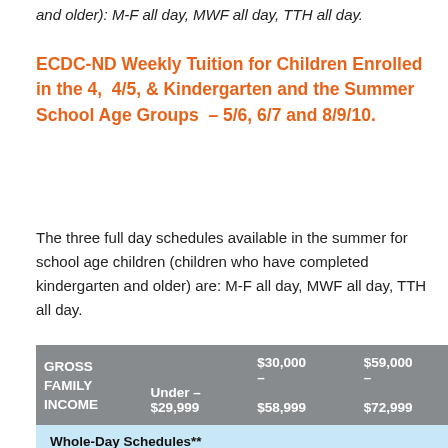and older): M-F all day, MWF all day, TTH all day.
ECDC-ND Weekly Tuition for Children Enrolled in the 4, 4/5, & Kindergarten and the Summer School Age Groups – 5/6, 6/7 and 8/9/10.
The three full day schedules available in the summer for school age children (children who have completed kindergarten and older) are: M-F all day, MWF all day, TTH all day.
| GROSS FAMILY INCOME | Under – $29,999 | $30,000 – $58,999 | $59,000 – $72,999 |
| --- | --- | --- | --- |
| Whole-Day Schedules** |  |  |  |